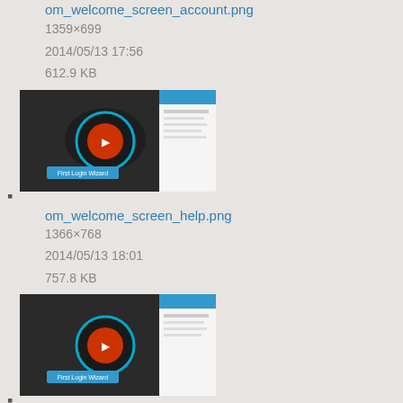om_welcome_screen_account.png
1359×699
2014/05/13 17:56
612.9 KB
[Figure (screenshot): Thumbnail of om_welcome_screen_help.png showing a welcome screen with dark background and sidebar]
om_welcome_screen_help.png
1366×768
2014/05/13 18:01
757.8 KB
[Figure (screenshot): Thumbnail of om_welcome_screen_permissions.png showing a welcome screen with dark background and sidebar]
om_welcome_screen_permissions.png
1366×768
2014/05/13 18:02
662.7 KB
[Figure (other): PDF file icon for om_win_1.4.2_release_notes.pdf]
om_win_1.4.2_release_notes.pdf